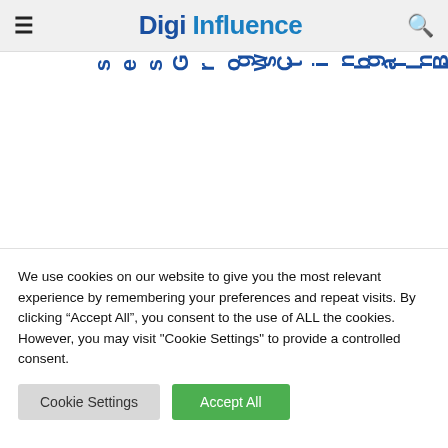Digi Influence
ses Grow C
sting in the e
b al B2BE c
We use cookies on our website to give you the most relevant experience by remembering your preferences and repeat visits. By clicking “Accept All”, you consent to the use of ALL the cookies. However, you may visit "Cookie Settings" to provide a controlled consent.
Cookie Settings
Accept All